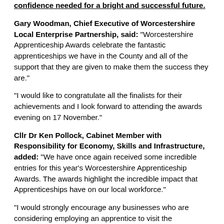confidence needed for a bright and successful future.
Gary Woodman, Chief Executive of Worcestershire Local Enterprise Partnership, said: “Worcestershire Apprenticeship Awards celebrate the fantastic apprenticeships we have in the County and all of the support that they are given to make them the success they are.”
“I would like to congratulate all the finalists for their achievements and I look forward to attending the awards evening on 17 November.”
Cllr Dr Ken Pollock, Cabinet Member with Responsibility for Economy, Skills and Infrastructure, added: “We have once again received some incredible entries for this year’s Worcestershire Apprenticeship Awards. The awards highlight the incredible impact that Apprenticeships have on our local workforce.”
“I would strongly encourage any businesses who are considering employing an apprentice to visit the Worcestershire Apprenticeships website, www.worcsapprenticeships.org.uk.”
For a full list of the finalists for this year’s awards and for more information on taking on an apprentice, visit www.worcsapprenticeships.org.uk and join the conversation on